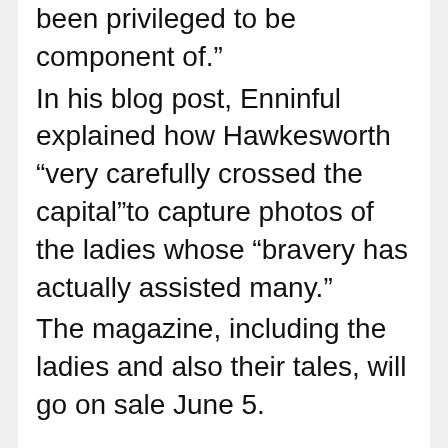been privileged to be component of.” In his blog post, Enninful explained how Hawkesworth “very carefully crossed the capital”to capture photos of the ladies whose “bravery has actually assisted many.” The magazine, including the ladies and also their tales, will go on sale June 5.